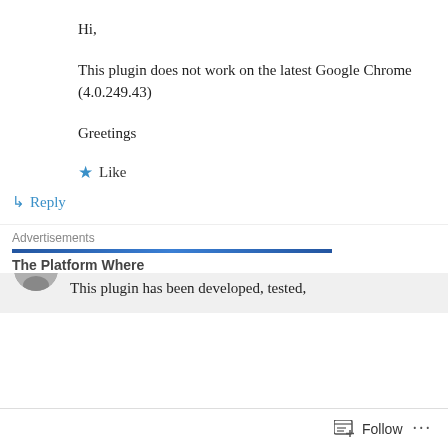Hi,
This plugin does not work on the latest Google Chrome (4.0.249.43)
Greetings
★ Like
↳ Reply
Jeremy Horn on December 28, 2009 at 7:59 am
This plugin has been developed, tested,
Advertisements
The Platform Where
Follow